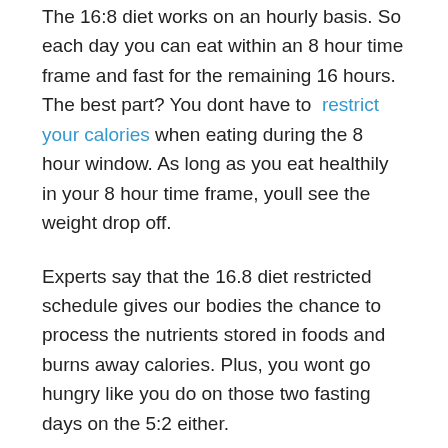The 16:8 diet works on an hourly basis. So each day you can eat within an 8 hour time frame and fast for the remaining 16 hours. The best part? You dont have to restrict your calories when eating during the 8 hour window. As long as you eat healthily in your 8 hour time frame, youll see the weight drop off.
Experts say that the 16.8 diet restricted schedule gives our bodies the chance to process the nutrients stored in foods and burns away calories. Plus, you wont go hungry like you do on those two fasting days on the 5:2 either.